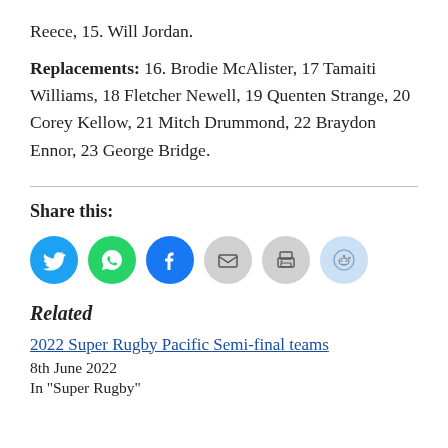Reece, 15. Will Jordan.
Replacements: 16. Brodie McAlister, 17 Tamaiti Williams, 18 Fletcher Newell, 19 Quenten Strange, 20 Corey Kellow, 21 Mitch Drummond, 22 Braydon Ennor, 23 George Bridge.
Share this:
[Figure (infographic): Row of six circular social share buttons: Twitter (blue), WhatsApp (green), Facebook (blue), Email (grey), Print (grey), Reddit (light blue)]
Related
2022 Super Rugby Pacific Semi-final teams
8th June 2022
In "Super Rugby"